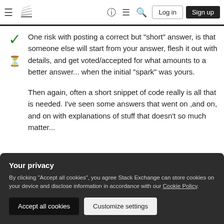Stack Exchange navigation bar with hamburger menu, logo, help, chat, search icons, Log in and Sign up buttons
One risk with posting a correct but "short" answer, is that someone else will start from your answer, flesh it out with details, and get voted/accepted for what amounts to a better answer... when the initial "spark" was yours.
Then again, often a short snippet of code really is all that is needed. I've seen some answers that went on ,and on, and on with explanations of stuff that doesn't so much matter...
Your privacy
By clicking "Accept all cookies", you agree Stack Exchange can store cookies on your device and disclose information in accordance with our Cookie Policy.
Accept all cookies  Customize settings